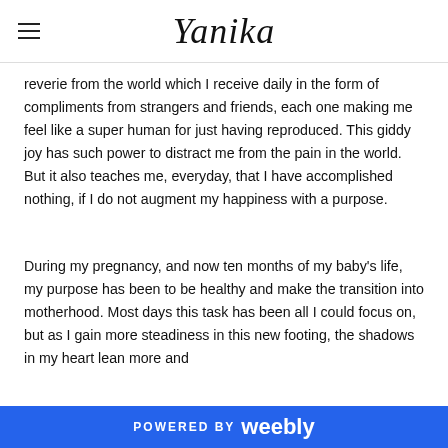Yanika
reverie from the world which I receive daily in the form of compliments from strangers and friends, each one making me feel like a super human for just having reproduced. This giddy joy has such power to distract me from the pain in the world. But it also teaches me, everyday, that I have accomplished nothing, if I do not augment my happiness with a purpose.
During my pregnancy, and now ten months of my baby's life, my purpose has been to be healthy and make the transition into motherhood. Most days this task has been all I could focus on, but as I gain more steadiness in this new footing, the shadows in my heart lean more and
POWERED BY weebly